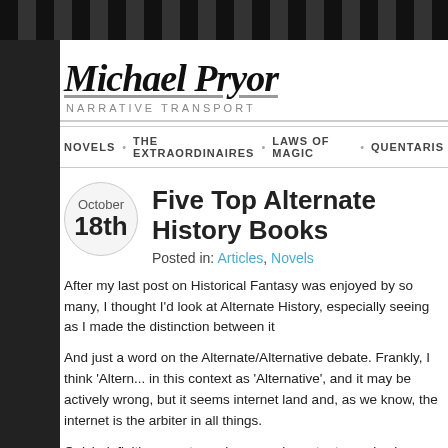Michael Pryor — NARRATIVE TRANSPORT
NOVELS · THE EXTRAORDINAIRES · LAWS OF MAGIC · QUENTARIS
Five Top Alternate History Books
Posted in: Articles, Novels
After my last post on Historical Fantasy was enjoyed by so many, I thought I'd look at Alternate History, especially seeing as I made the distinction between it...
And just a word on the Alternate/Alternative debate. Frankly, I think 'Altern... in this context as 'Alternative', and it may be actively wrong, but it seems... internet land and, as we know, the internet is the arbiter in all things.
Quick definition – a story where one important premise is a change in an...